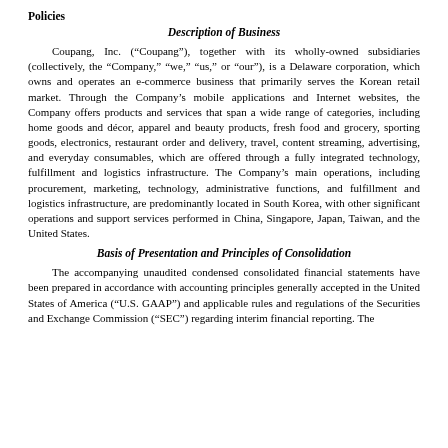Policies
Description of Business
Coupang, Inc. (“Coupang”), together with its wholly-owned subsidiaries (collectively, the “Company,” “we,” “us,” or “our”), is a Delaware corporation, which owns and operates an e-commerce business that primarily serves the Korean retail market. Through the Company’s mobile applications and Internet websites, the Company offers products and services that span a wide range of categories, including home goods and décor, apparel and beauty products, fresh food and grocery, sporting goods, electronics, restaurant order and delivery, travel, content streaming, advertising, and everyday consumables, which are offered through a fully integrated technology, fulfillment and logistics infrastructure. The Company’s main operations, including procurement, marketing, technology, administrative functions, and fulfillment and logistics infrastructure, are predominantly located in South Korea, with other significant operations and support services performed in China, Singapore, Japan, Taiwan, and the United States.
Basis of Presentation and Principles of Consolidation
The accompanying unaudited condensed consolidated financial statements have been prepared in accordance with accounting principles generally accepted in the United States of America (“U.S. GAAP”) and applicable rules and regulations of the Securities and Exchange Commission (“SEC”) regarding interim financial reporting. The